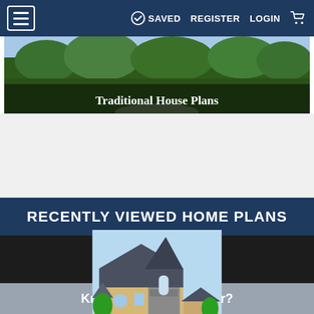≡  SAVED  REGISTER  LOGIN  🛒
[Figure (screenshot): Banner image showing a traditional house exterior with green landscaping and the text 'Traditional House Plans' overlaid]
Traditional House Plans
RECENTLY VIEWED HOME PLANS
[Figure (illustration): Illustration of a French country / traditional style house with stone and stucco exterior, steep gray roof, surrounded by green trees and lawn]
Know your plan number?